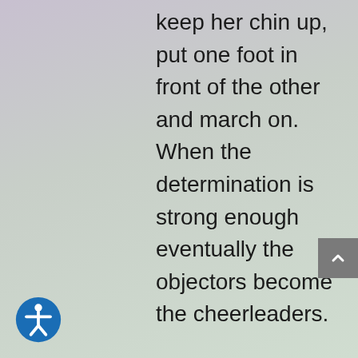keep her chin up, put one foot in front of the other and march on. When the determination is strong enough eventually the objectors become the cheerleaders.